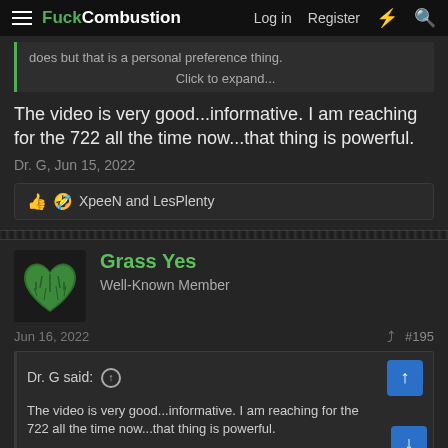FuckCombustion — Log in  Register
does but that is a personal preference thing.
Click to expand...
The video is very good...informative. I am reaching for the 722 all the time now...that thing is powerful.
Dr. G, Jun 15, 2022
XpeeN and LesPlenty
Grass Yes
Well-Known Member
Jun 16, 2022
#195
Dr. G said:
The video is very good...informative. I am reaching for the 722 all the time now...that thing is powerful.
You keep repeating that number. Are you referring to a different